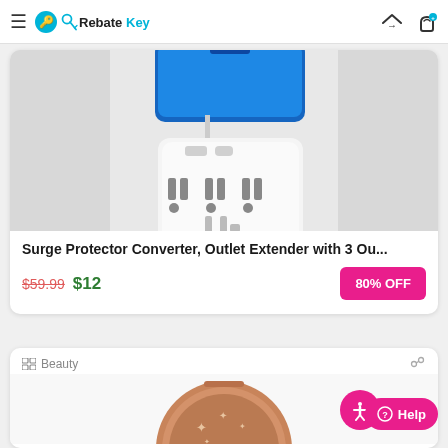RebateKey
[Figure (photo): Photo of a white surge protector converter plug with 3 outlets and USB ports, with a blue smartphone resting on top, plugged into a wall outlet]
Surge Protector Converter, Outlet Extender with 3 Ou...
$59.99 $12 80% OFF
Beauty
[Figure (photo): Partial view of a rose-gold circular compact mirror with star decorations]